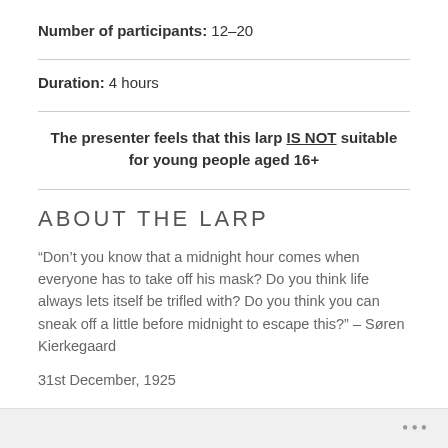Number of participants: 12–20
Duration: 4 hours
The presenter feels that this larp IS NOT suitable for young people aged 16+
ABOUT THE LARP
“Don’t you know that a midnight hour comes when everyone has to take off his mask? Do you think life always lets itself be trifled with? Do you think you can sneak off a little before midnight to escape this?” – Søren Kierkegaard
31st December, 1925
...